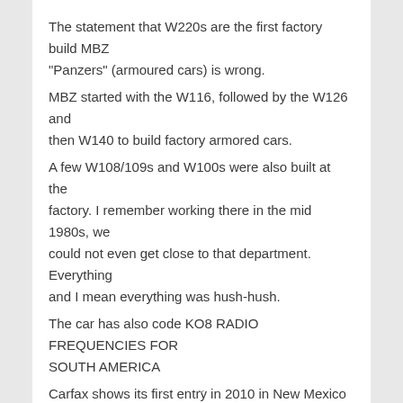The statement that W220s are the first factory build MBZ “Panzers” (armoured cars) is wrong.
MBZ started with the W116, followed by the W126 and then W140 to build factory armored cars.
A few W108/109s and W100s were also built at the factory. I remember working there in the mid 1980s, we could not even get close to that department. Everything and I mean everything was hush-hush.
The car has also code KO8 RADIO FREQUENCIES FOR SOUTH AMERICA
Carfax shows its first entry in 2010 in New Mexico with 31k miles. That makes me very curious about the first few years of this car.